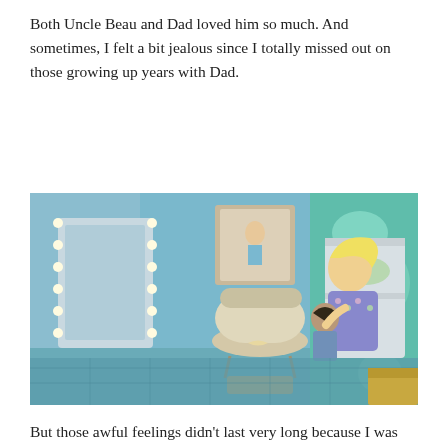Both Uncle Beau and Dad loved him so much. And sometimes, I felt a bit jealous since I totally missed out on those growing up years with Dad.
[Figure (screenshot): A screenshot from The Sims 4 video game showing a nursery room with teal/blue walls, a bassinet with a bow, a vanity mirror with lights, teal curtains with white floral patterns, and an adult Sim with blonde hair wearing a floral robe interacting with a toddler near a white bookshelf.]
But those awful feelings didn't last very long because I was mostly happy for the kid.
[Figure (screenshot): Partial screenshot from The Sims 4, showing a dark-haired character, partially visible at the bottom of the page.]